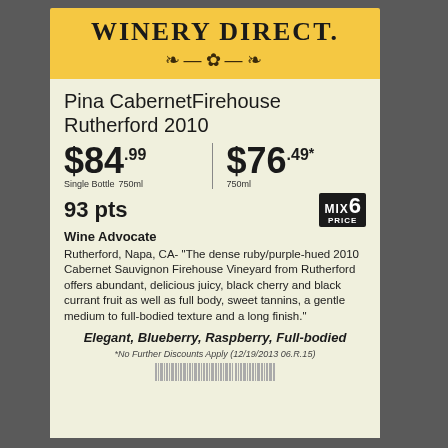Winery Direct.
Pina CabernetFirehouse Rutherford 2010
$84.99 Single Bottle 750ml | $76.49* 750ml
93 pts MIX 6 PRICE
Wine Advocate
Rutherford, Napa, CA- "The dense ruby/purple-hued 2010 Cabernet Sauvignon Firehouse Vineyard from Rutherford offers abundant, delicious juicy, black cherry and black currant fruit as well as full body, sweet tannins, a gentle medium to full-bodied texture and a long finish."
Elegant, Blueberry, Raspberry, Full-bodied
*No Further Discounts Apply (12/19/2013 06.R.15)